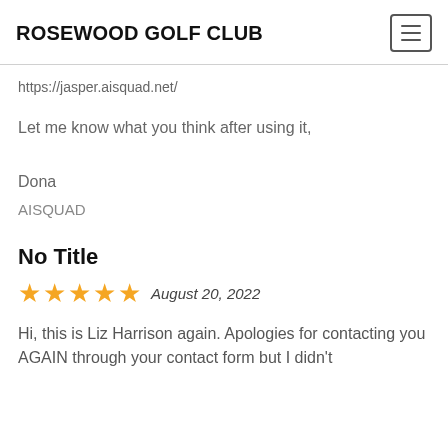ROSEWOOD GOLF CLUB
https://jasper.aisquad.net/
Let me know what you think after using it,
Dona
AISQUAD
No Title
★★★★★  August 20, 2022
Hi, this is Liz Harrison again. Apologies for contacting you AGAIN through your contact form but I didn't